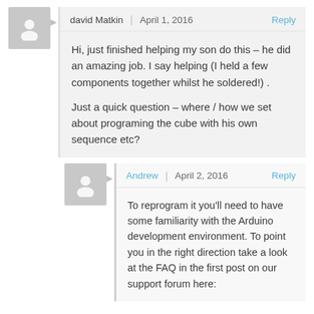david Matkin | April 1, 2016 Reply
Hi, just finished helping my son do this – he did an amazing job. I say helping (I held a few components together whilst he soldered!) .

Just a quick question – where / how we set about programing the cube with his own sequence etc?
Andrew | April 2, 2016 Reply
To reprogram it you'll need to have some familiarity with the Arduino development environment. To point you in the right direction take a look at the FAQ in the first post on our support forum here: